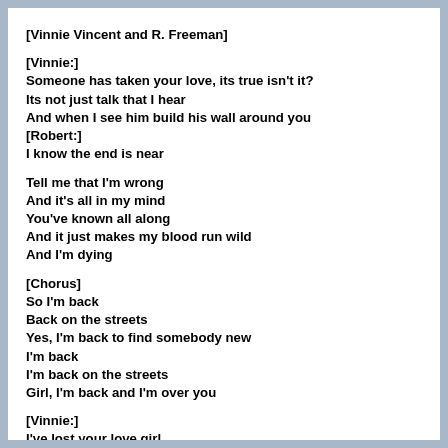[Vinnie Vincent and R. Freeman]
[Vinnie:]
Someone has taken your love, its true isn't it?
Its not just talk that I hear
And when I see him build his wall around you
[Robert:]
I know the end is near
Tell me that I'm wrong
And it's all in my mind
You've known all along
And it just makes my blood run wild
And I'm dying
[Chorus]
So I'm back
Back on the streets
Yes, I'm back to find somebody new
I'm back
I'm back on the streets
Girl, I'm back and I'm over you
[Vinnie:]
I've lost your love girl
And all that I live for
Is it...